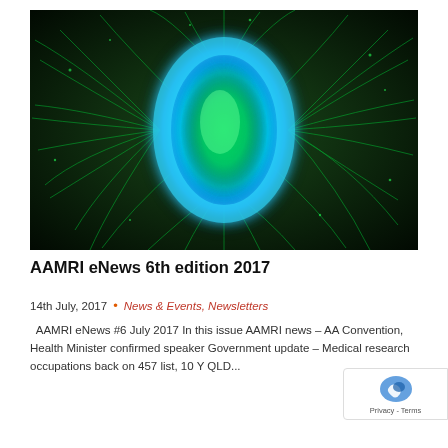[Figure (photo): Fluorescence microscopy image of a bacterium. The bacterium is oval/rod-shaped with a bright green core surrounded by a blue glowing halo, set against a dark green background with green filamentous structures (flagella or pili) radiating outward.]
AAMRI eNews 6th edition 2017
14th July, 2017  •  News & Events, Newsletters
AAMRI eNews #6 July 2017 In this issue AAMRI news – AA Convention, Health Minister confirmed speaker Government update – Medical research occupations back on 457 list, 10 Y QLD...